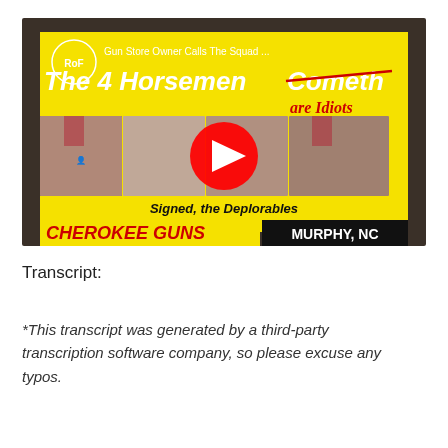[Figure (screenshot): YouTube video thumbnail for Cherokee Guns gun store. Text reads 'Gun Store Owner Calls The Squad...' at top. Large text 'The 4 Horsemen Cometh' with 'Cometh' crossed out and 'are Idiots' written in red cursive. Four photos of congresswomen (The Squad) with a YouTube play button overlay. Yellow background with text 'Signed, the Deplorables'. Bottom: 'CHEROKEE GUNS' in red and 'MURPHY, NC' in white on black. ROF logo in top left.]
Transcript:
*This transcript was generated by a third-party transcription software company, so please excuse any typos.